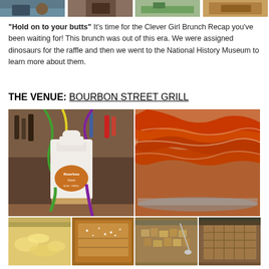[Figure (photo): Strip of food/scene photos at the top of the page]
"Hold on to your butts" It's time for the Clever Girl Brunch Recap you've been waiting for! This brunch was out of this era. We were assigned dinosaurs for the raffle and then we went to the National History Museum to learn more about them.
THE VENUE: BOURBON STREET GRILL
[Figure (photo): Two photos side by side: left shows Bourbon Street Grill cup/vase with Mardi Gras beads; right shows a close-up of cooked bacon strips in a tray]
[Figure (photo): Four food photos side by side showing brunch buffet items: scrambled eggs, French toast with powdered sugar, diced potatoes/hash, and another food item]